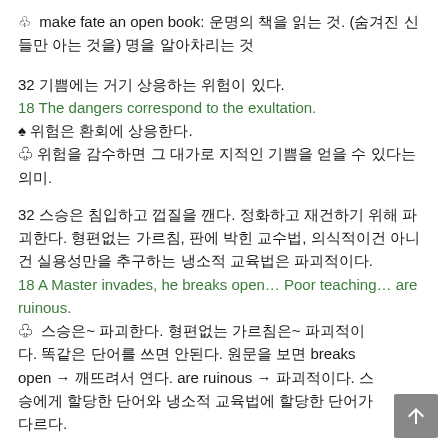♧ make fate an open book: 운명의 책을 읽는 것. (숨겨진 신들만 아는 것을) 명을 알아차리는 것
32 기쁨에는 거기 상응하는 위험이 있다.
18 The dangers correspond to the exultation.
♠ 위험은 환회에 상응한다.
♧ 위험을 감수하면 그 대가로 지적인 기쁨을 얻을 수 있다는 의미.
32 스승은 침입하고 껍질을 깬다. 정화하고 재건하기 위해 파괴한다. 형편없는 가르침, 판에 박힌 교수법, 의식적이건 아니건 실용성만을 추구하는 냉소적 교육법은 파괴적이다.
18 A Master invades, he breaks open... Poor teaching... are ruinous.
♧ 스승은~ 파괴한다. 형편없는 가르침은~ 파괴적이다. 똑같은 단어를 쓰면 안된다. 원문을 보면 breaks open → 깨뜨려서 연다. are ruinous → 파괴적이다. 스승에게 할당한 단어와 냉소적 교육법에 할당한 단어가 다르다.